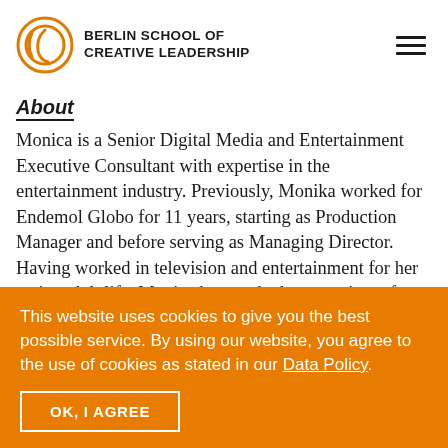BERLIN SCHOOL OF CREATIVE LEADERSHIP
About
Monica is a Senior Digital Media and Entertainment Executive Consultant with expertise in the entertainment industry. Previously, Monika worked for Endemol Globo for 11 years, starting as Production Manager and before serving as Managing Director. Having worked in television and entertainment for her entire adult life, Monica has worked on a variety of shows and projects.
This website uses cookies to give you the best possible service. By using our website, you agree to the use of cookies as stated in our Data Policy.
OK, I AGREE